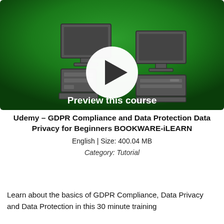[Figure (screenshot): Video course thumbnail with green gradient background, two desktop computer illustrations, a white circular play button in the center, and white bold text reading 'Preview this course']
Udemy – GDPR Compliance and Data Protection Data Privacy for Beginners BOOKWARE-iLEARN
English | Size: 400.04 MB
Category: Tutorial
Learn about the basics of GDPR Compliance, Data Privacy and Data Protection in this 30 minute training